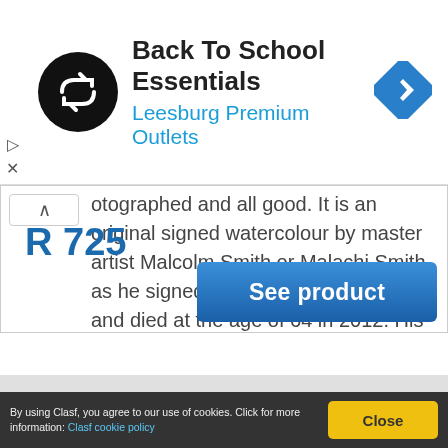[Figure (logo): Back To School Essentials ad banner with circular black logo, navigation diamond icon, and Leesburg Premium Outlets subtitle]
otographed and all good. It is an original signed watercolour by master artist Malcolm Smith or Malachi Smith as he signed in later years. Born 1948 and died at the age of 64 in 2012. His work is exceptional. This lovely piece framed behind non reflective glass measures with
R 725
See product
[Figure (logo): Clasf watermark logo in light gray]
By using Clasf, you agree to our use of cookies. Click for more information: Clasf cookie policy